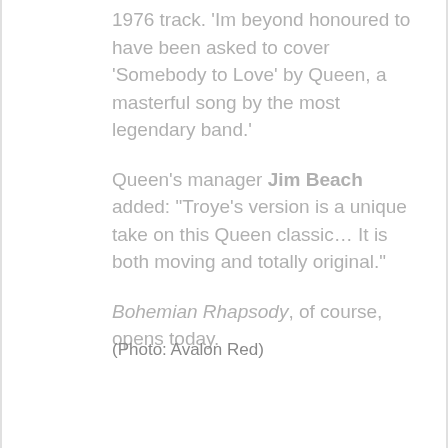1976 track. 'Im beyond honoured to have been asked to cover 'Somebody to Love' by Queen, a masterful song by the most legendary band.'
Queen's manager Jim Beach added: "Troye's version is a unique take on this Queen classic… It is both moving and totally original."
Bohemian Rhapsody, of course, opens today.
(Photo: Avalon Red)